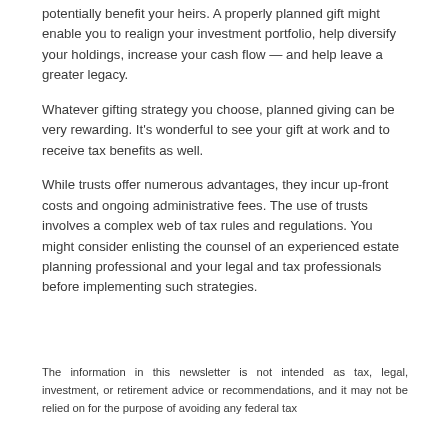potentially benefit your heirs. A properly planned gift might enable you to realign your investment portfolio, help diversify your holdings, increase your cash flow — and help leave a greater legacy.
Whatever gifting strategy you choose, planned giving can be very rewarding. It's wonderful to see your gift at work and to receive tax benefits as well.
While trusts offer numerous advantages, they incur up-front costs and ongoing administrative fees. The use of trusts involves a complex web of tax rules and regulations. You might consider enlisting the counsel of an experienced estate planning professional and your legal and tax professionals before implementing such strategies.
The information in this newsletter is not intended as tax, legal, investment, or retirement advice or recommendations, and it may not be relied on for the purpose of avoiding any federal tax